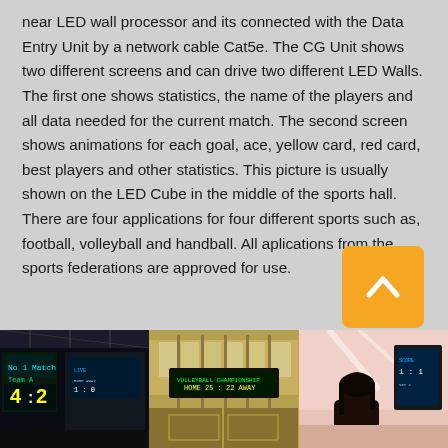near LED wall processor and its connected with the Data Entry Unit by a network cable Cat5e. The CG Unit shows two different screens and can drive two different LED Walls. The first one shows statistics, the name of the players and all data needed for the current match. The second screen shows animations for each goal, ace, yellow card, red card, best players and other statistics. This picture is usually  shown on the LED Cube in the middle of the sports hall. There are four applications for four different sports such as, football, volleyball and handball. All aplications from the sports federations are approved for use.
[Figure (photo): LED scoreboard display showing a sports score 4:2 in a dark arena with colorful LED panels and truss structure]
[Figure (photo): Large LED information display board installed in a modern sports hall with natural light from windows]
[Figure (photo): Person from behind looking at an LED screen in a pink/light colored room]